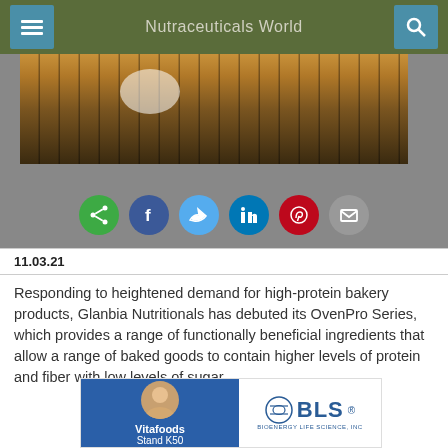Nutraceuticals World
[Figure (photo): Close-up photo of baked goods on a grill/rack, warm brown tones]
[Figure (infographic): Social sharing icons row: share (green), Facebook (blue), Twitter (light blue), LinkedIn (blue), Pinterest (red), email (gray)]
11.03.21
Responding to heightened demand for high-protein bakery products, Glanbia Nutritionals has debuted its OvenPro Series, which provides a range of functionally beneficial ingredients that allow a range of baked goods to contain higher levels of protein and fiber with low levels of sugar
[Figure (advertisement): Advertisement banner for BLS (Bioenergy Life Science Inc) featuring Vitafoods Stand K50]